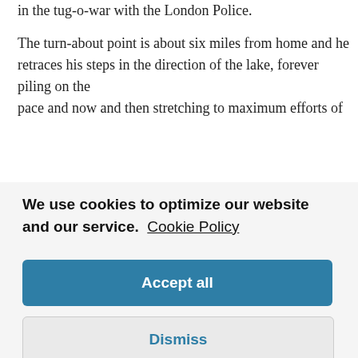in the tug-o-war with the London Police.
The turn-about point is about six miles from home and he retraces his steps in the direction of the lake, forever piling on the pace and now and then stretching to maximum efforts of one or
We use cookies to optimize our website and our service. Cookie Policy
Accept all
Dismiss
Preferences
treatments since 1969 the level has remained at only 80% of